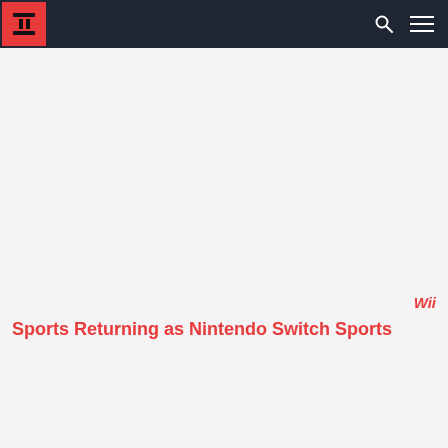Wii
Sports Returning as Nintendo Switch Sports